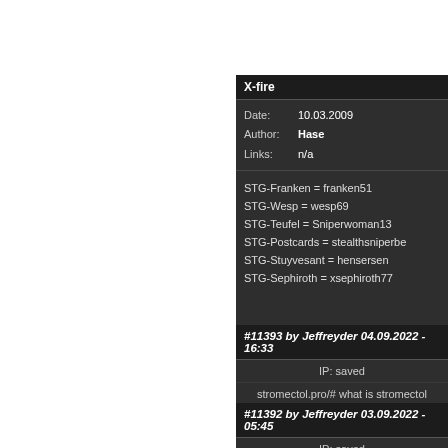X-fire
Date: 10.03.2009
Author: Hase
Links: n/a
STG-Franken = franken51
STG-Wesp = wesp69
STG-Teufel = Sniperwoman13
STG-Postcards = stealthsniperbe
STG-Stuyvesant = hensersen
STG-Sephiroth = xsephiroth77
#11393 by Jeffreyder 04.09.2022 - 16:33
IP: saved
stromectol.pro/# what is stromectol
#11392 by Jeffreyder 03.09.2022 - 05:45
IP: saved
stromectol.pro/# stromectol side effects